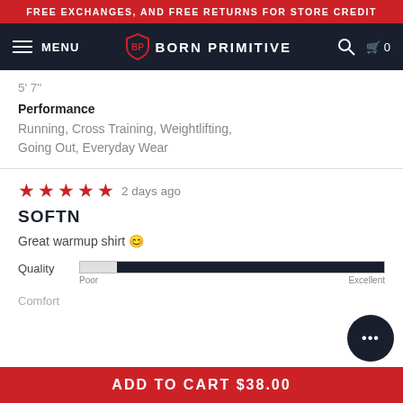FREE EXCHANGES, AND FREE RETURNS FOR STORE CREDIT
[Figure (logo): Born Primitive logo with shield emblem and navigation bar showing MENU, search, and cart icons]
5' 7"
Performance
Running, Cross Training, Weightlifting, Going Out, Everyday Wear
[Figure (other): 5 red star rating]
2 days ago
SOFTN
Great warmup shirt 😊
Quality
[Figure (other): Quality rating bar nearly full, labeled Poor to Excellent]
Comfort
ADD TO CART $38.00